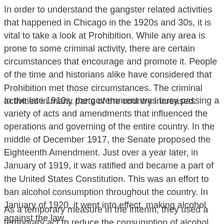In order to understand the gangster related activities that happened in Chicago in the 1920s and 30s, it is vital to take a look at Prohibition. While any area is prone to some criminal activity, there are certain circumstances that encourage and promote it. People of the time and historians alike have considered that Prohibition met those circumstances. The criminal activities in many parts of the country increased.
In the late 1910s, the government was busy passing a variety of acts and amendments that influenced the operations and governing of the entire country. In the middle of December 1917, the Senate proposed the Eighteenth Amendment. Just over a year later, in January of 1919, it was ratified and became a part of the United States Constitution. This was an effort to ban alcohol consumption throughout the country. In January of 1920, it went into effect, making alcohol against the law.
As a temporary measure in the interim, they used a temporary act to reduce the consumption of alcohol. Known as the Wartime